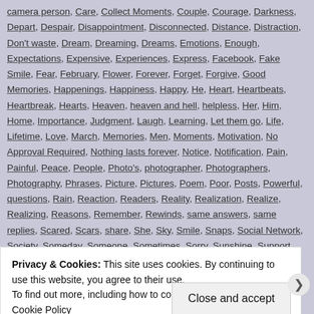camera person, Care, Collect Moments, Couple, Courage, Darkness, Depart, Despair, Disappointment, Disconnected, Distance, Distraction, Don't waste, Dream, Dreaming, Dreams, Emotions, Enough, Expectations, Expensive, Experiences, Express, Facebook, Fake Smile, Fear, February, Flower, Forever, Forget, Forgive, Good Memories, Happenings, Happiness, Happy, He, Heart, Heartbeats, Heartbreak, Hearts, Heaven, heaven and hell, helpless, Her, Him, Home, Importance, Judgment, Laugh, Learning, Let them go, Life, Lifetime, Love, March, Memories, Men, Moments, Motivation, No Approval Required, Nothing lasts forever, Notice, Notification, Pain, Painful, Peace, People, Photo's, photographer, Photographers, Photography, Phrases, Picture, Pictures, Poem, Poor, Posts, Powerful, questions, Rain, Reaction, Readers, Reality, Realization, Realize, Realizing, Reasons, Remember, Rewinds, same answers, same replies, Scared, Scars, share, She, Sky, Smile, Snaps, Social Network, Society, Someday, Someone, Sometimes, Sorry, Sunshine, Support, sweet smile, The Faults in Our Stars, Thoughts, Time, Time is Limited, Times, Today, Togetherness, Uncomfortable, Unexpected, Unforgettable, Unfortunate,
Privacy & Cookies: This site uses cookies. By continuing to use this website, you agree to their use.
To find out more, including how to control cookies, see here: Cookie Policy